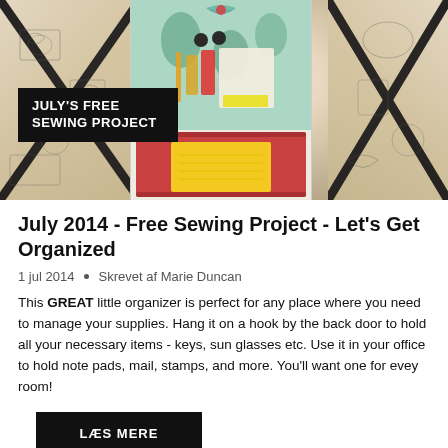[Figure (photo): Photo of fabric organizer/memo board with pockets. Center organizer has colorful tropical fabric and a red pocket holding stationery. Left and right panels show toile patterned fabric boards with black ribbon straps. Overlay text reads JULY'S FREE SEWING PROJECT in white on black background.]
July 2014 - Free Sewing Project - Let's Get Organized
1 jul 2014 · Skrevet af Marie Duncan
This GREAT little organizer is perfect for any place where you need to manage your supplies. Hang it on a hook by the back door to hold all your necessary items - keys, sun glasses etc. Use it in your office to hold note pads, mail, stamps, and more. You'll want one for evey room!
LÆS MERE